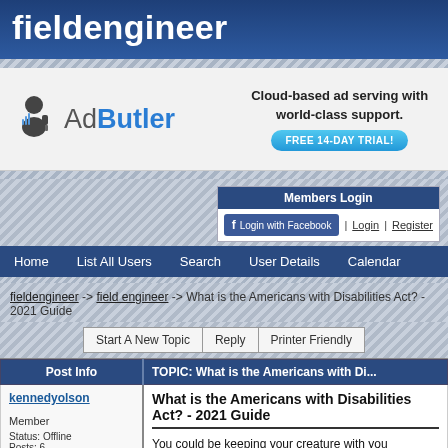fieldengineer
[Figure (screenshot): AdButler advertisement banner: logo with person icon and 'AdButler' text, tagline 'Cloud-based ad serving with world-class support.', FREE 14-DAY TRIAL button]
Members Login | Login with Facebook | Login | Register
Home  List All Users  Search  User Details  Calendar
fieldengineer -> field engineer -> What is the Americans with Disabilities Act? - 2021 Guide
Start A New Topic  Reply  Printer Friendly
| Post Info | TOPIC: What is the Americans with Di... |
| --- | --- |
| kennedyolson

Member

Status: Offline
Posts: 6 | What is the Americans with Disabilities Act? - 2021 Guide

You could be keeping your creature with you comparably a typio the advantages of an esa proprietor. The best way to guarantee creature is a substantial ESA Letter. |